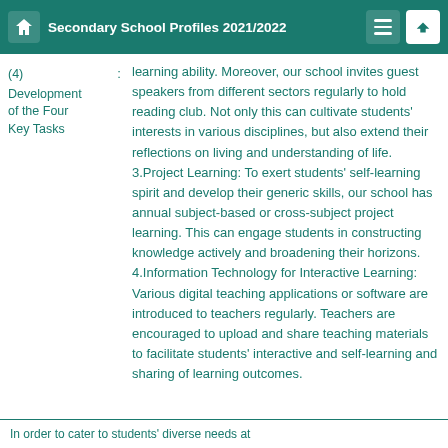Secondary School Profiles 2021/2022
(4) Development of the Four Key Tasks
learning ability. Moreover, our school invites guest speakers from different sectors regularly to hold reading club. Not only this can cultivate students' interests in various disciplines, but also extend their reflections on living and understanding of life. 3.Project Learning: To exert students' self-learning spirit and develop their generic skills, our school has annual subject-based or cross-subject project learning. This can engage students in constructing knowledge actively and broadening their horizons. 4.Information Technology for Interactive Learning: Various digital teaching applications or software are introduced to teachers regularly. Teachers are encouraged to upload and share teaching materials to facilitate students' interactive and self-learning and sharing of learning outcomes.
In order to cater to students' diverse needs at